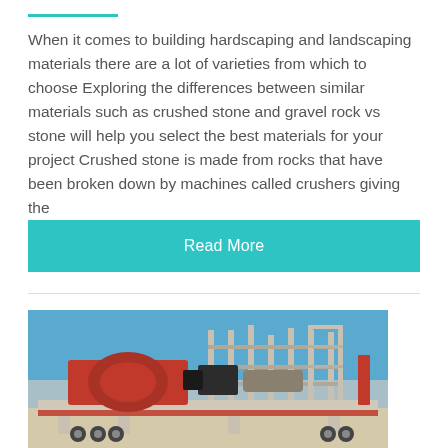When it comes to building hardscaping and landscaping materials there are a lot of varieties from which to choose Exploring the differences between similar materials such as crushed stone and gravel rock vs stone will help you select the best materials for your project Crushed stone is made from rocks that have been broken down by machines called crushers giving the
Read More
[Figure (photo): A mobile stone crusher machine mounted on a flatbed trailer, with red and grey industrial crushing equipment, parked on a sandy area under a blue sky.]